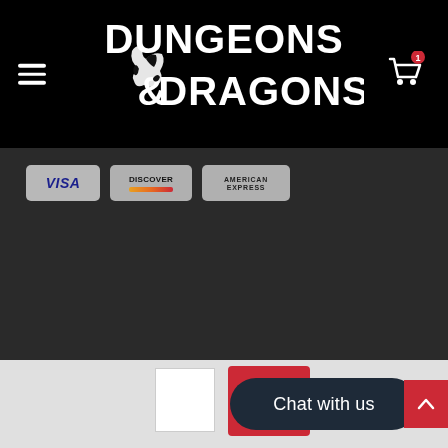[Figure (logo): Dungeons & Dragons logo in white on black background, with hamburger menu icon on left and shopping cart icon with red badge on right]
[Figure (infographic): Payment method icons: Visa, Discover, American Express credit card badges on dark gray background]
Chat with us
[Figure (screenshot): Bottom navigation area with white square, red rectangle, Chat with us dark pill button, and red scroll-to-top button]